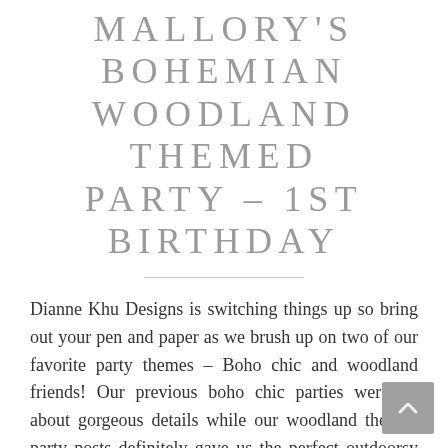MALLORY'S BOHEMIAN WOODLAND THEMED PARTY – 1ST BIRTHDAY
Dianne Khu Designs is switching things up so bring out your pen and paper as we brush up on two of our favorite party themes – Boho chic and woodland friends! Our previous boho chic parties were all about gorgeous details while our woodland themed party posts definitely gave us the perfect outdoorsy feel. So what do